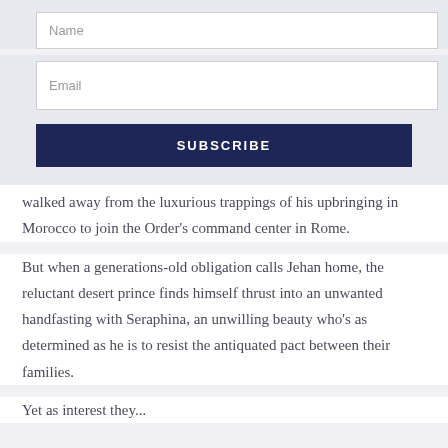Name
Email
SUBSCRIBE
walked away from the luxurious trappings of his upbringing in Morocco to join the Order's command center in Rome.
But when a generations-old obligation calls Jehan home, the reluctant desert prince finds himself thrust into an unwanted handfasting with Seraphina, an unwilling beauty who's as determined as he is to resist the antiquated pact between their families.
Yet as interest they...